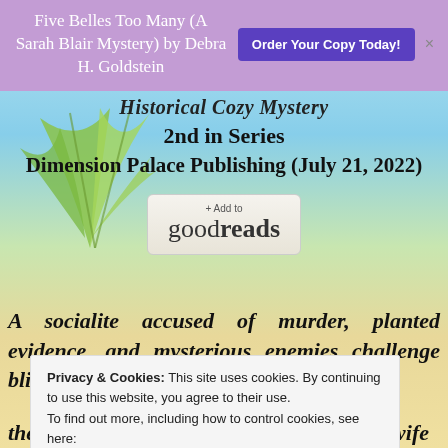Five Belles Too Many (A Sarah Blair Mystery) by Debra H. Goldstein
[Figure (screenshot): Purple banner with book title and 'Order Your Copy Today!' button and close X]
Historical Cozy Mystery
2nd in Series
Dimension Palace Publishing (July 21, 2022)
[Figure (logo): + Add to goodreads button]
A socialite accused of murder, planted evidence, and mysterious enemies challenge blind
Privacy & Cookies: This site uses cookies. By continuing to use this website, you agree to their use.
To find out more, including how to control cookies, see here:
Cookie Policy
Close and accept
the evidence points towards Grace Pierce, wife